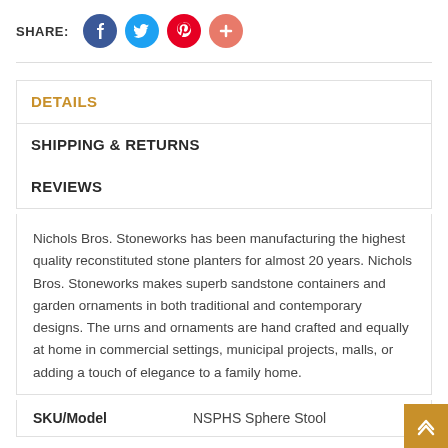SHARE:
DETAILS
SHIPPING & RETURNS
REVIEWS
Nichols Bros. Stoneworks has been manufacturing the highest quality reconstituted stone planters for almost 20 years. Nichols Bros. Stoneworks makes superb sandstone containers and garden ornaments in both traditional and contemporary designs. The urns and ornaments are hand crafted and equally at home in commercial settings, municipal projects, malls, or adding a touch of elegance to a family home.
| SKU/Model |  |
| --- | --- |
| SKU/Model | NSPHS Sphere Stool |